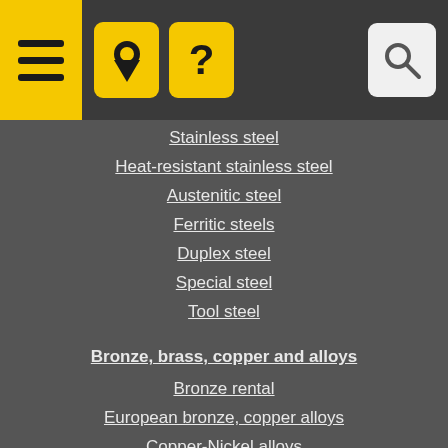Navigation header with menu, location, help, and search icons
Stainless steel
Heat-resistant stainless steel
Austenitic steel
Ferritic steels
Duplex steel
Special steel
Tool steel
Bronze, brass, copper and alloys
Bronze rental
European bronze, copper alloys
Copper-Nickel alloys
Copper rental
Brass car
European brass
Rare and refractory metals